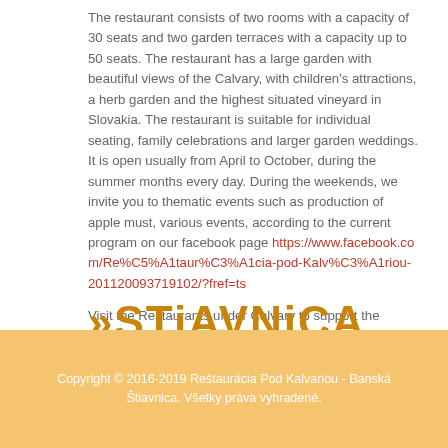The restaurant consists of two rooms with a capacity of 30 seats and two garden terraces with a capacity up to 50 seats. The restaurant has a large garden with beautiful views of the Calvary, with children's attractions, a herb garden and the highest situated vineyard in Slovakia. The restaurant is suitable for individual seating, family celebrations and larger garden weddings. It is open usually from April to October, during the summer months every day. During the weekends, we invite you to thematic events such as production of apple must, various events, according to the current program on our facebook page https://www.facebook.com/Re%C5%A1taur%C3%A1cia-pod-Kalv%C3%A1riou-201120093719102/?fref=ts
Visit the Restaurants under Calvary to support the restoration of Banská Štiavnica Calvary. Looking forward to your visit!
[Figure (logo): STiAVNiCA.SK logo in decorative golden/orange text with guillemet arrows]
Copyright © 2016-2019 Reštaurácia Pod Kalvariou - Banská Štiavnica. Všetky práva vyhradené.